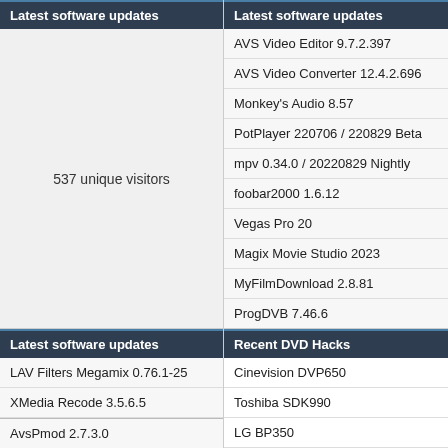Latest software updates
537 unique visitors
Latest software updates
AVS Video Editor 9.7.2.397
AVS Video Converter 12.4.2.696
Monkey's Audio 8.57
PotPlayer 220706 / 220829 Beta
mpv 0.34.0 / 20220829 Nightly
foobar2000 1.6.12
Vegas Pro 20
Magix Movie Studio 2023
MyFilmDownload 2.8.81
ProgDVB 7.46.6
Latest software updates
LAV Filters Megamix 0.76.1-25
XMedia Recode 3.5.6.5
AvsPmod 2.7.3.0
Advanced Codecs 16.3.5
Ant Download Manager 2.7.4 / 2.7.5 Beta
VideoPad Video Editor 11.97
Recent DVD Hacks
Cinevision DVP650
Toshiba SDK990
LG BP350
LG BP250
Samsung BD-J5500
Panasonic DMP-BDT380